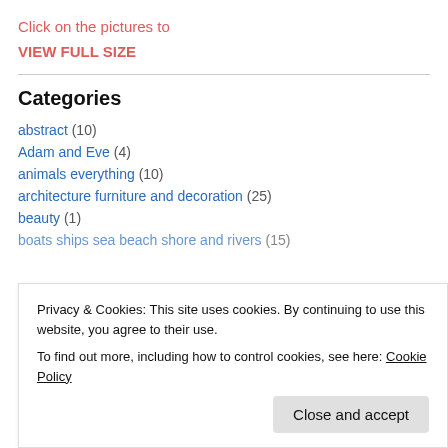Click on the pictures to
VIEW FULL SIZE
Categories
abstract (10)
Adam and Eve (4)
animals everything (10)
architecture furniture and decoration (25)
beauty (1)
boats ships sea beach shore and rivers (15)
Privacy & Cookies: This site uses cookies. By continuing to use this website, you agree to their use.
To find out more, including how to control cookies, see here: Cookie Policy
death and illness (7)